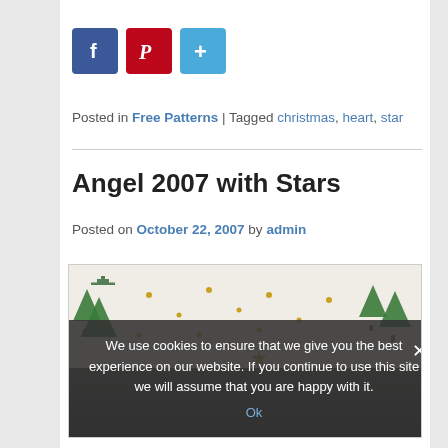[Figure (infographic): Social sharing buttons: Facebook (blue), Pinterest (red), Google+ / Add (blue)]
Posted in Free Patterns | Tagged christmas, heart, star
Angel 2007 with Stars
Posted on October 22, 2007 by admin
[Figure (photo): Photo of an embroidered tablecloth or fabric showing Christmas trees and gold star dots on white fabric, with dark background below]
We use cookies to ensure that we give you the best experience on our website. If you continue to use this site we will assume that you are happy with it. Ok